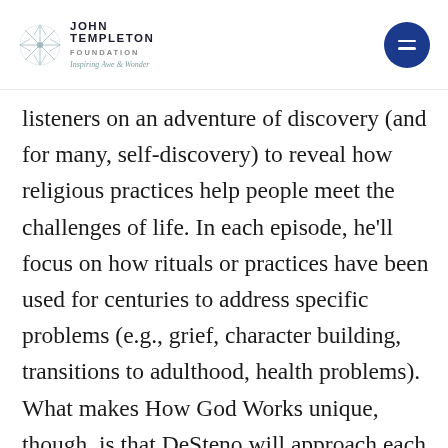John Templeton Foundation — Inspiring Awe & Wonder
listeners on an adventure of discovery (and for many, self-discovery) to reveal how religious practices help people meet the challenges of life. In each episode, he'll focus on how rituals or practices have been used for centuries to address specific problems (e.g., grief, character building, transitions to adulthood, health problems). What makes How God Works unique, though, is that DeSteno will approach each issue through the eyes of a scientist, interweaving psychology, neuroscience and other disciplines with interviews